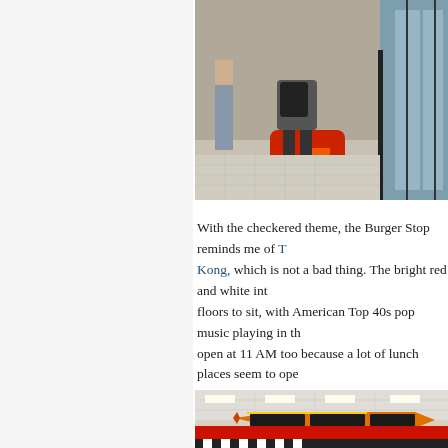[Figure (photo): Street scene showing a person on a red and orange scooter (license plate 912EZR) near a building entrance, with pedestrians and reflective glass doors visible.]
With the checkered theme, the Burger Stop reminds me of T[ransit Milk in Hong] Kong, which is not a bad thing. The bright red and white int[erior has multiple] floors to sit, with American Top 40s pop music playing in th[e background. It's] open at 11 AM too because a lot of lunch places seem to ope[n later...]
[Figure (photo): Interior of Burger Stop restaurant showing the counter area with an orange/yellow arrow-shaped menu board overhead, staff working, flower arrangements, and checkered decor.]